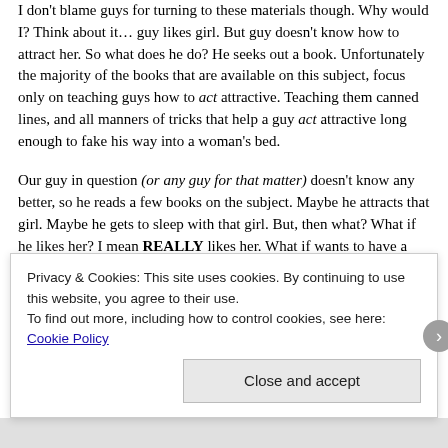I don't blame guys for turning to these materials though. Why would I? Think about it… guy likes girl. But guy doesn't know how to attract her. So what does he do? He seeks out a book. Unfortunately the majority of the books that are available on this subject, focus only on teaching guys how to act attractive. Teaching them canned lines, and all manners of tricks that help a guy act attractive long enough to fake his way into a woman's bed.
Our guy in question (or any guy for that matter) doesn't know any better, so he reads a few books on the subject. Maybe he attracts that girl. Maybe he gets to sleep with that girl. But, then what? What if he likes her? I mean REALLY likes her. What if wants to have a long-term relationship with her? What does he do now? He's stuck because he went into this relationship with fake and manipulative behaviours. So he has no choice but to maintain the facade. But how long can he keep up the act? A week, month, a year? How long before the chinks in his armor start to show? How long before she realizes that he was pretending to be someone that he wasn't? Worse still, how long before he loses
Privacy & Cookies: This site uses cookies. By continuing to use this website, you agree to their use.
To find out more, including how to control cookies, see here: Cookie Policy
Close and accept